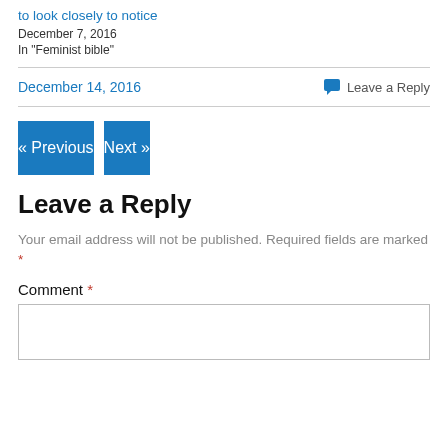to look closely to notice
December 7, 2016
In "Feminist bible"
December 14, 2016
Leave a Reply
« Previous
Next »
Leave a Reply
Your email address will not be published. Required fields are marked *
Comment *